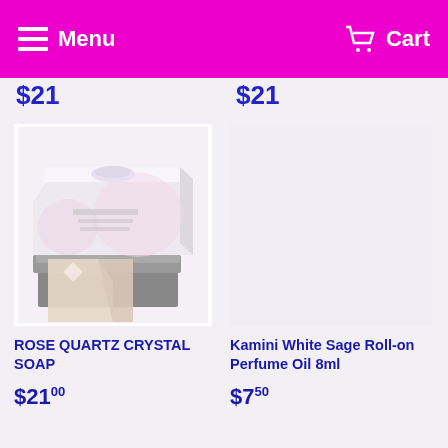Menu | Cart
$21
$21
[Figure (photo): Rose Quartz Crystal Soap product in white and grey gift box packaging]
ROSE QUARTZ CRYSTAL SOAP
$21.00
Kamini White Sage Roll-on Perfume Oil 8ml
$7.50